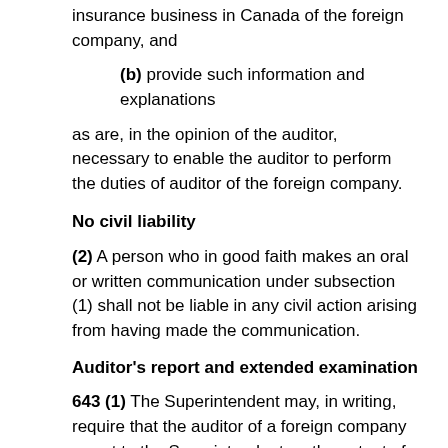insurance business in Canada of the foreign company, and
(b) provide such information and explanations
as are, in the opinion of the auditor, necessary to enable the auditor to perform the duties of auditor of the foreign company.
No civil liability
(2) A person who in good faith makes an oral or written communication under subsection (1) shall not be liable in any civil action arising from having made the communication.
Auditor's report and extended examination
643 (1) The Superintendent may, in writing, require that the auditor of a foreign company report to the Superintendent on the extent of the auditor's procedures in the examination of the annual return and may, in writing, require that the auditor enlarge